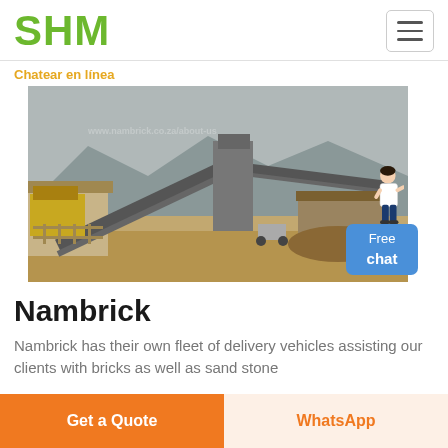SHM
Chatear en línea
[Figure (photo): Outdoor industrial stone crushing and conveyor belt plant facility with mountains in the background]
Nambrick
Nambrick has their own fleet of delivery vehicles assisting our clients with bricks as well as sand stone
Get a Quote | WhatsApp